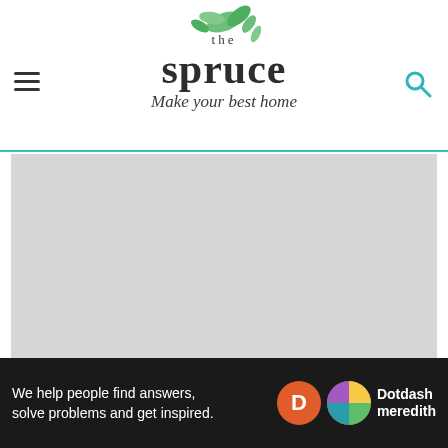the spruce — Make your best home
[Figure (photo): Gray placeholder rectangle representing a photo of white walls interior design by Rebecca Johnston / R Johnston Interior Design]
Rebecca Johnston / R Johnston Interior Design
White walls are an excellent option in case...
[Figure (other): Dotdash Meredith advertisement banner: 'We help people find answers, solve problems and get inspired.']